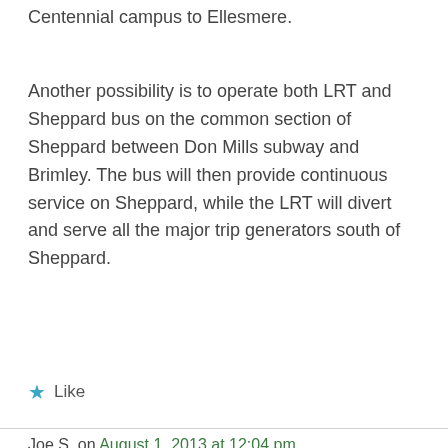Centennial campus to Ellesmere.
Another possibility is to operate both LRT and Sheppard bus on the common section of Sheppard between Don Mills subway and Brimley. The bus will then provide continuous service on Sheppard, while the LRT will divert and serve all the major trip generators south of Sheppard.
★ Like
Joe S. on August 1, 2013 at 12:04 pm
The good news is that Scarborough Centre already has a subway! At least according to the signs that have been installed outside the new